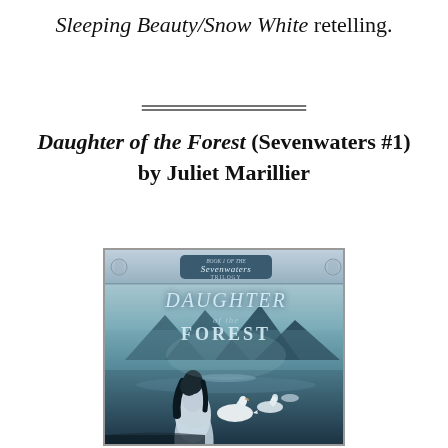Sleeping Beauty/Snow White retelling.
[Figure (illustration): Book cover of 'Daughter of the Forest' (Book 1 of the Sevenwaters Trilogy) by Juliet Marillier. Shows a woman in a white dress standing at the edge of a misty lake with swans, mountains in the background, moody blue-green atmosphere.]
Daughter of the Forest (Sevenwaters #1) by Juliet Marillier